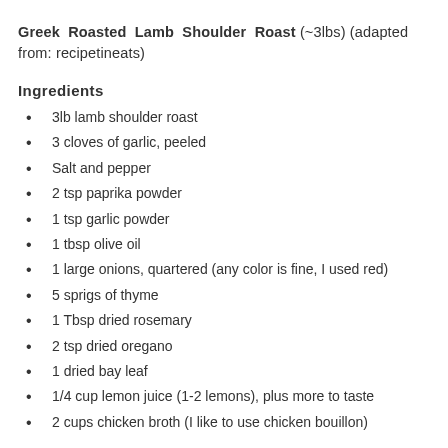Greek Roasted Lamb Shoulder Roast (~3lbs) (adapted from: recipetineats)
Ingredients
3lb lamb shoulder roast
3 cloves of garlic, peeled
Salt and pepper
2 tsp paprika powder
1 tsp garlic powder
1 tbsp olive oil
1 large onions, quartered (any color is fine, I used red)
5 sprigs of thyme
1 Tbsp dried rosemary
2 tsp dried oregano
1 dried bay leaf
1/4 cup lemon juice (1-2 lemons), plus more to taste
2 cups chicken broth (I like to use chicken bouillon)